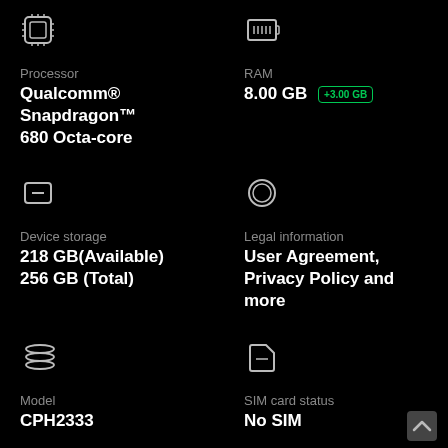[Figure (icon): Processor chip icon (top-left)]
[Figure (icon): RAM/memory icon (top-right)]
Processor
RAM
Qualcomm® Snapdragon™ 680 Octa-core
8.00 GB +3.00 GB
[Figure (icon): Device storage icon (minus/storage)]
[Figure (icon): Legal information / copyright icon]
Device storage
Legal information
218 GB(Available)
256 GB (Total)
User Agreement, Privacy Policy and more
[Figure (icon): Layers/stack icon (Model)]
[Figure (icon): SIM card icon]
Model
SIM card status
CPH2333
No SIM
[Figure (icon): List/document icon (bottom-left)]
[Figure (icon): Android robot icon (bottom-right)]
[Figure (icon): Scroll up chevron arrow (bottom-right corner)]